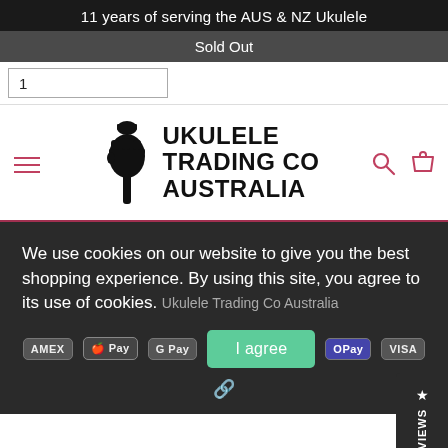11 years of serving the AUS & NZ Ukulele
Sold Out
1
[Figure (logo): Ukulele Trading Co Australia logo with hand holding ukulele neck illustration. Text reads UKULELE TRADING CO AUSTRALIA.]
We use cookies on our website to give you the best shopping experience. By using this site, you agree to its use of cookies.
I agree